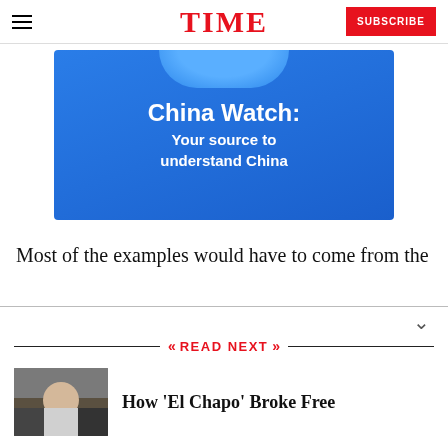TIME | SUBSCRIBE
[Figure (illustration): China Watch advertisement banner with blue background, decorative arc at top, bold white text reading 'China Watch: Your source to understand China']
Most of the examples would have to come from the
READ NEXT
[Figure (photo): Photograph of El Chapo being escorted by law enforcement officers]
How 'El Chapo' Broke Free